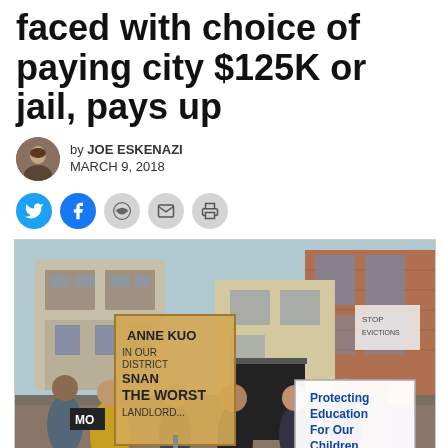faced with choice of paying city $125K or jail, pays up
by JOE ESKENAZI
MARCH 9, 2018
[Figure (photo): Protest scene on a city street with demonstrators holding signs reading 'Anne Kuo Among the Worst Landlords', 'Protecting Education For Our Children', and 'Anne Phagi'. Buildings visible in background including Victorian houses and a brick building.]